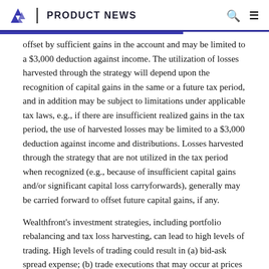PRODUCT NEWS
offset by sufficient gains in the account and may be limited to a $3,000 deduction against income. The utilization of losses harvested through the strategy will depend upon the recognition of capital gains in the same or a future tax period, and in addition may be subject to limitations under applicable tax laws, e.g., if there are insufficient realized gains in the tax period, the use of harvested losses may be limited to a $3,000 deduction against income and distributions. Losses harvested through the strategy that are not utilized in the tax period when recognized (e.g., because of insufficient capital gains and/or significant capital loss carryforwards), generally may be carried forward to offset future capital gains, if any.
Wealthfront's investment strategies, including portfolio rebalancing and tax loss harvesting, can lead to high levels of trading. High levels of trading could result in (a) bid-ask spread expense; (b) trade executions that may occur at prices beyond the bid ask spread (if quantity demanded exceeds quantity